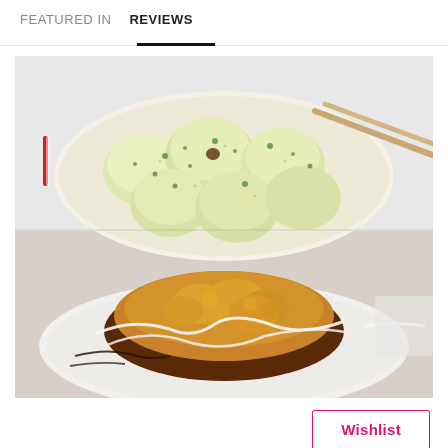FEATURED IN   REVIEWS
[Figure (photo): Two dishes of Japanese takoyaki food in white paper trays. Top tray shows takoyaki balls covered in creamy white/green sauce with aonori (green seaweed flakes) and chopsticks resting on the tray. Bottom tray shows takoyaki topped with crispy golden tempura flakes and drizzled with dark sauce and white mayonnaise.]
Wishlist